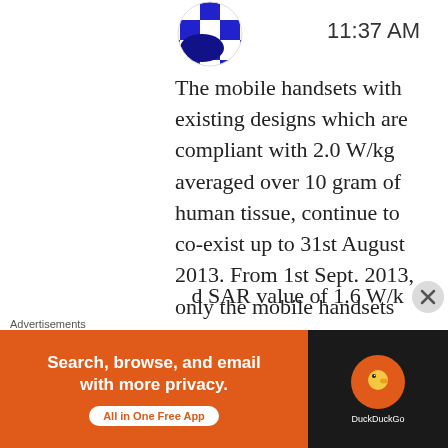[Figure (logo): Partial logo with blue/white checkered pattern at top]
11:37 AM
The mobile handsets with existing designs which are compliant with 2.0 W/kg averaged over 10 gram of human tissue, continue to co-exist up to 31st August 2013. From 1st Sept. 2013, only the mobile handsets with
Advertisements
[Figure (infographic): DuckDuckGo advertisement banner: orange left panel with text 'Search, browse, and email with more privacy. All in One Free App' and dark right panel with DuckDuckGo logo]